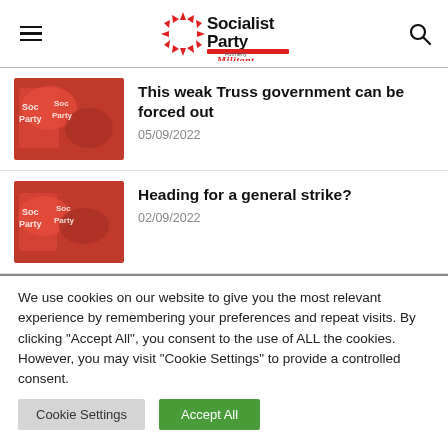Socialist Party — Formerly Militant (logo header)
This weak Truss government can be forced out
05/09/2022
Heading for a general strike?
02/09/2022
We use cookies on our website to give you the most relevant experience by remembering your preferences and repeat visits. By clicking "Accept All", you consent to the use of ALL the cookies. However, you may visit "Cookie Settings" to provide a controlled consent.
Cookie Settings
Accept All